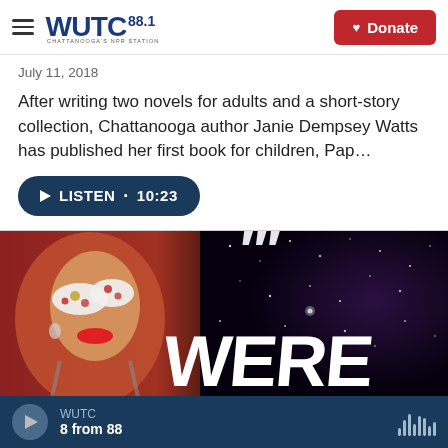WUTC 88.1 CHATTANOOGA'S NPR STATION | Donate
July 11, 2018
After writing two novels for adults and a short-story collection, Chattanooga author Janie Dempsey Watts has published her first book for children, Pap…
LISTEN • 10:23
[Figure (photo): Book cover showing a woman wearing a butterfly mask with text 'WERE' visible in large white letters against a starry night sky background]
WUTC | 8 from 88